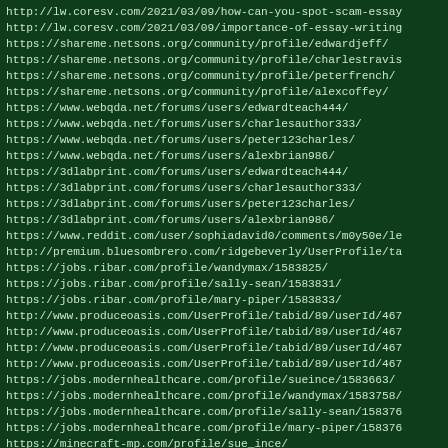http://lw.coresv.com/2021/03/09/how-can-you-spot-scam-essay
http://lw.coresv.com/2021/03/09/importance-of-essay-writing
https://shareme.netsons.org/community/profile/edwardjeff/
https://shareme.netsons.org/community/profile/charlestravis
https://shareme.netsons.org/community/profile/peterfrench/
https://shareme.netsons.org/community/profile/alexcoffey/
https://www.webqda.net/forums/users/edwardteach444/
https://www.webqda.net/forums/users/charlesauthor333/
https://www.webqda.net/forums/users/peter123charles/
https://www.webqda.net/forums/users/alexbrian986/
https://3dlabprint.com/forums/users/edwardteach444/
https://3dlabprint.com/forums/users/charlesauthor333/
https://3dlabprint.com/forums/users/peter123charles/
https://3dlabprint.com/forums/users/alexbrian986/
https://www.reddit.com/user/sophiadavid0/comments/m0y50e/le
http://premium.bluesombrero.com/ridgebeverly/UserProfile/ta
https://jobs.ribar.com/profile/wandymax/1583825/
https://jobs.ribar.com/profile/sally-sean/1583831/
https://jobs.ribar.com/profile/mary-piper/1583833/
http://www.produceoasis.com/UserProfile/tabid/89/userId/467
http://www.produceoasis.com/UserProfile/tabid/89/userId/467
http://www.produceoasis.com/UserProfile/tabid/89/userId/467
http://www.produceoasis.com/UserProfile/tabid/89/userId/467
https://jobs.modernhealthcare.com/profile/sueince/1583663/
https://jobs.modernhealthcare.com/profile/wandymax/1583758/
https://jobs.modernhealthcare.com/profile/sally-sean/158376
https://jobs.modernhealthcare.com/profile/mary-piper/158376
https://minecraft-mp.com/profile/sue_ince/
https://minecraft-mp.com/profile/wandy_max/
https://minecraft-mp.com/profile/sally_sean/